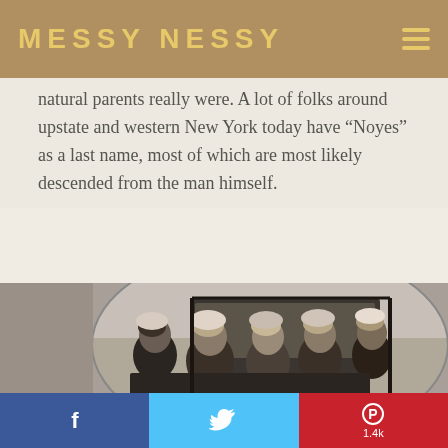MESSY NESSY
natural parents really were. A lot of folks around upstate and western New York today have “Noyes” as a last name, most of which are most likely descended from the man himself.
[Figure (photo): Black and white oval-framed photograph of five young children wearing knitted hats/bonnets, seated together, appearing to be from the late 19th or early 20th century.]
f  [Twitter bird icon]  P 1.4k